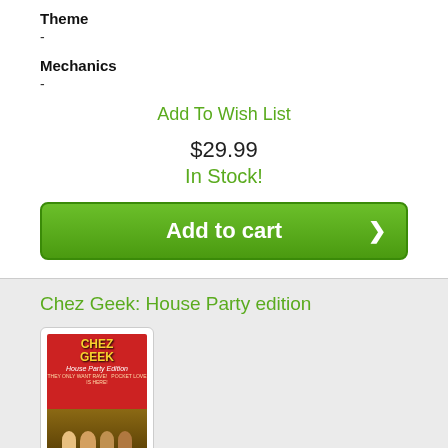Theme
-
Mechanics
-
Add To Wish List
$29.99
In Stock!
Add to cart
Chez Geek: House Party edition
[Figure (photo): Cover image of Chez Geek: House Party Edition board game box, with yellow and red text on red background with cartoon characters]